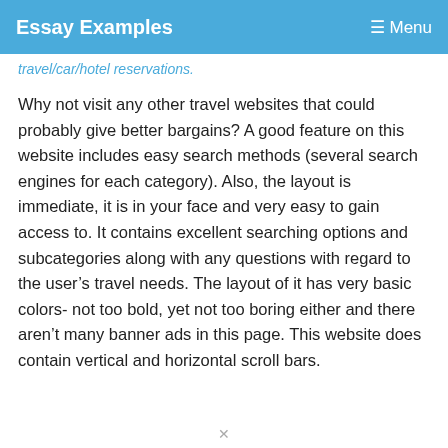Essay Examples  ☰ Menu
travel/car/hotel reservations.
Why not visit any other travel websites that could probably give better bargains? A good feature on this website includes easy search methods (several search engines for each category). Also, the layout is immediate, it is in your face and very easy to gain access to. It contains excellent searching options and subcategories along with any questions with regard to the user's travel needs. The layout of it has very basic colors- not too bold, yet not too boring either and there aren't many banner ads in this page. This website does contain vertical and horizontal scroll bars.
×